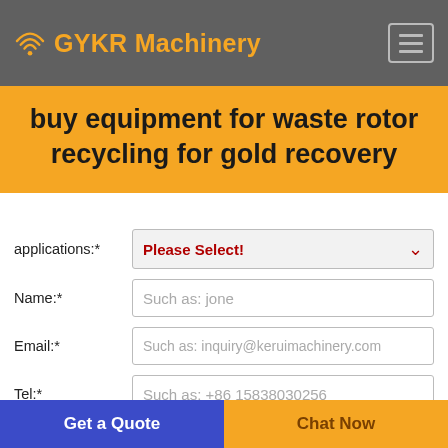GYKR Machinery
buy equipment for waste rotor recycling for gold recovery
applications:* Please Select!
Name:* Such as: jone
Email:* Such as: inquiry@keruimachinery.com
Tel:* Such as: +86 15838030256
Get a Quote
Chat Now